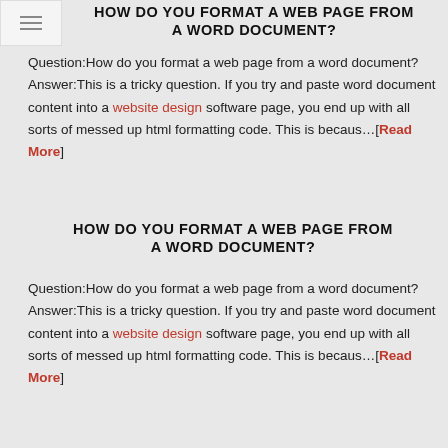HOW DO YOU FORMAT A WEB PAGE FROM A WORD DOCUMENT?
Question:How do you format a web page from a word document? Answer:This is a tricky question. If you try and paste word document content into a website design software page, you end up with all sorts of messed up html formatting code. This is becaus…[Read More]
HOW DO YOU FORMAT A WEB PAGE FROM A WORD DOCUMENT?
Question:How do you format a web page from a word document? Answer:This is a tricky question. If you try and paste word document content into a website design software page, you end up with all sorts of messed up html formatting code. This is becaus…[Read More]